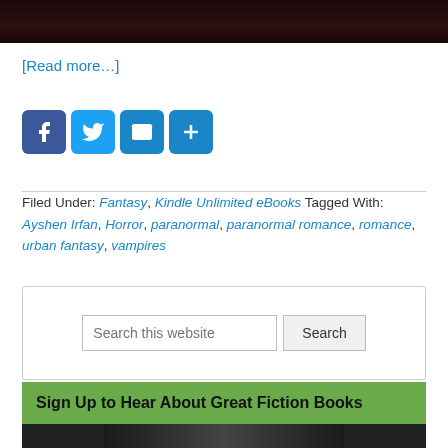[Figure (photo): Dark image strip at the top of the page, appears to be a book cover or promotional image with dark tones]
[Read more…]
[Figure (infographic): Social sharing icons: Facebook (blue), Twitter (light blue), Email (blue envelope), More/Share (blue plus)]
Filed Under: Fantasy, Kindle Unlimited eBooks Tagged With: Ayshen Irfan, Horror, paranormal, paranormal romance, romance, urban fantasy, vampires
[Figure (screenshot): Search widget with text input labeled 'Search this website' and a Search button]
Sign Up to Hear About Great Fiction Books
[Figure (photo): Partial dark image at the bottom, appears to be a book cover]